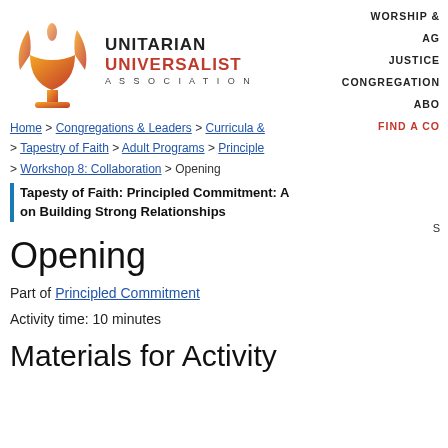[Figure (logo): Unitarian Universalist Association logo with flame icon and text]
WORSHIP &
AG
JUSTICE
CONGREGATION
ABO
FIND A CO
Home > Congregations & Leaders > Curricula & > Tapestry of Faith > Adult Programs > Principle > Workshop 8: Collaboration > Opening
Tapestry of Faith: Principled Commitment: A on Building Strong Relationships
Opening
Part of Principled Commitment
Activity time: 10 minutes
Materials for Activity
S